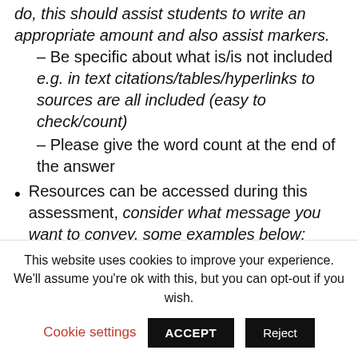do, this should assist students to write an appropriate amount and also assist markers.
– Be specific about what is/is not included e.g. in text citations/tables/hyperlinks to sources are all included (easy to check/count)
– Please give the word count at the end of the answer
Resources can be accessed during this assessment, consider what message you want to convey, some examples below;
– Resources can be accessed during this assessment; where you access a resource you should provide the link to that resource
This website uses cookies to improve your experience. We'll assume you're ok with this, but you can opt-out if you wish.
Cookie settings   ACCEPT   Reject